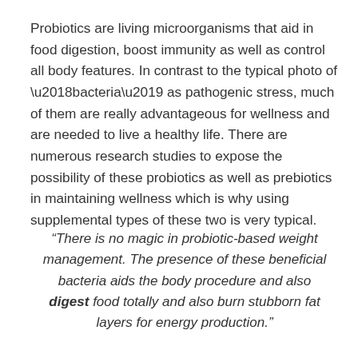Probiotics are living microorganisms that aid in food digestion, boost immunity as well as control all body features. In contrast to the typical photo of 'bacteria' as pathogenic stress, much of them are really advantageous for wellness and are needed to live a healthy life. There are numerous research studies to expose the possibility of these probiotics as well as prebiotics in maintaining wellness which is why using supplemental types of these two is very typical.
“There is no magic in probiotic-based weight management. The presence of these beneficial bacteria aids the body procedure and also digest food totally and also burn stubborn fat layers for energy production.”